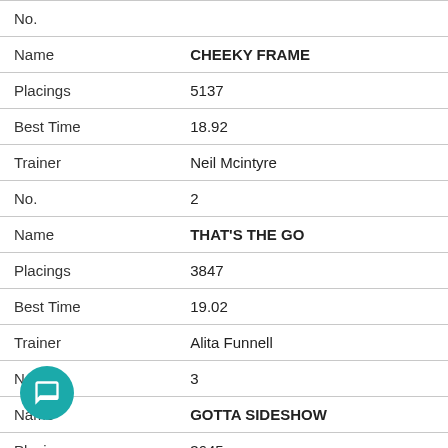| No. |  |
| Name | CHEEKY FRAME |
| Placings | 5137 |
| Best Time | 18.92 |
| Trainer | Neil Mcintyre |
| No. | 2 |
| Name | THAT'S THE GO |
| Placings | 3847 |
| Best Time | 19.02 |
| Trainer | Alita Funnell |
| No. | 3 |
| Name | GOTTA SIDESHOW |
| Placings | 3645 |
| Best Time | NBT |
| Trainer | James Gawne |
| No. | 4 |
| Name | RUBY BLING |
| Placings | 1187 |